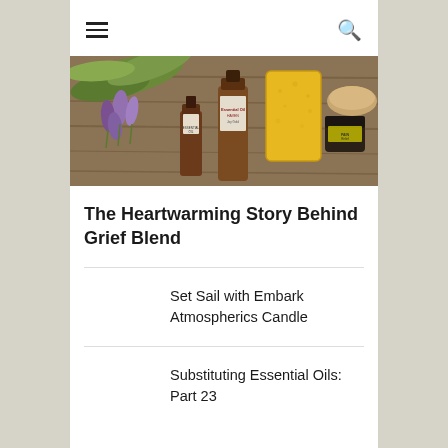≡  🔍
[Figure (photo): Essential oil bottles with lavender flowers and herbs arranged on a wooden surface, including amber dropper bottles and a yellow candle]
The Heartwarming Story Behind Grief Blend
Set Sail with Embark Atmospherics Candle
Substituting Essential Oils: Part 23